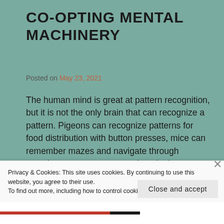CO-OPTING MENTAL MACHINERY
Posted on May 23, 2021
The human mind is great at pattern recognition, but it is not the only brain that can recognize a pattern. Pigeons can recognize patterns for food distribution with button presses, mice can remember mazes and navigate through complex patterns to a reward, and other animals can recognize patterns in hunting, mating, and other activities. What humans do differently is use pattern recognition to determine causal structures by
Privacy & Cookies: This site uses cookies. By continuing to use this website, you agree to their use.
To find out more, including how to control cookies, see here: Cookie Policy
Close and accept